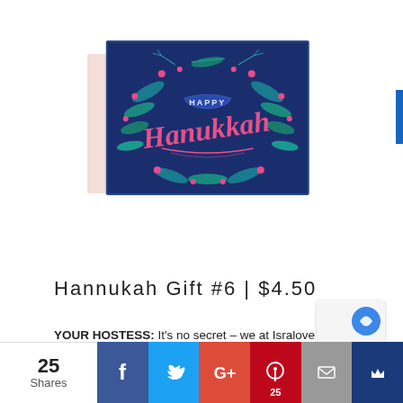[Figure (illustration): Hannukah greeting card with dark navy blue background featuring decorative floral and botanical elements in teal/blue, with pink script text reading 'Happy Hanukkah'. A light pink envelope is partially visible behind the card.]
Hannukah Gift #6 | $4.50
YOUR HOSTESS: It's no secret – we at Isralove adore typographic artwork – especially such a beautiful contemporary Jewish design. This Hannukah greeting card is perfect for sending someone a personal 'Chag Sameach' note.
[Figure (infographic): Social sharing bar at the bottom showing 25 Shares, with buttons for Facebook, Twitter, Google+, Pinterest (25), Email, and a crown/bookmark icon]